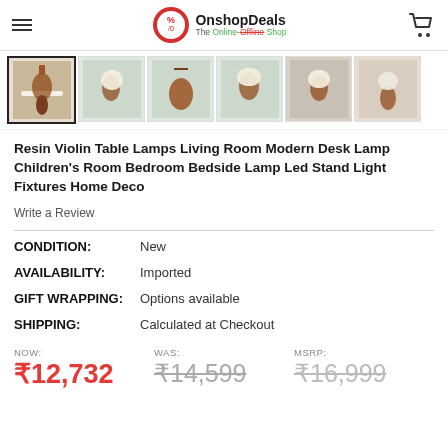OnshopDeals — The Online-Offline Shop
[Figure (photo): Six thumbnail images of a resin violin table lamp with a beige shade, shown from different angles in a room setting.]
Resin Violin Table Lamps Living Room Modern Desk Lamp Children's Room Bedroom Bedside Lamp Led Stand Light Fixtures Home Deco
Write a Review
CONDITION:   New
AVAILABILITY:   Imported
GIFT WRAPPING:   Options available
SHIPPING:   Calculated at Checkout
NOW: ₹12,732   WAS: ₹14,599   MSRP: ₹16,999